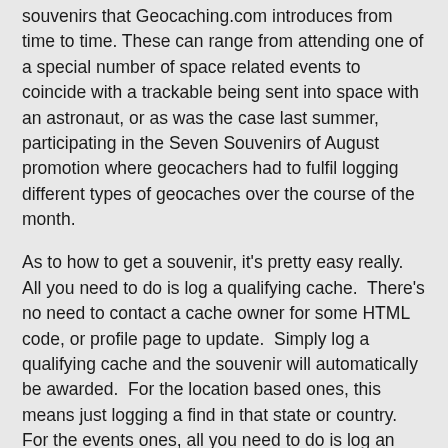souvenirs that Geocaching.com introduces from time to time. These can range from attending one of a special number of space related events to coincide with a trackable being sent into space with an astronaut, or as was the case last summer, participating in the Seven Souvenirs of August promotion where geocachers had to fulfil logging different types of geocaches over the course of the month.
As to how to get a souvenir, it's pretty easy really. All you need to do is log a qualifying cache. There's no need to contact a cache owner for some HTML code, or profile page to update. Simply log a qualifying cache and the souvenir will automatically be awarded. For the location based ones, this means just logging a find in that state or country. For the events ones, all you need to do is log an attendance log for the said event. Only with the special ones are there a specific set of criteria, all of which are based on logging certain or specific caches on certain days. However, in these instances, Geocaching.com make an effort to ensure the qualification criteria are made clear.
All in all, it's so easy that you probably have a bunch of souvenirs and don't even realise you've been awarded them